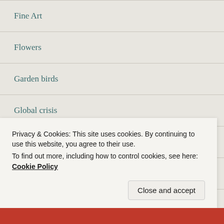Fine Art
Flowers
Garden birds
Global crisis
Hedgerows
Hedges
Isle of Wight
Jackson Pollock
landscape
Lockdown
Privacy & Cookies: This site uses cookies. By continuing to use this website, you agree to their use.
To find out more, including how to control cookies, see here: Cookie Policy
Close and accept